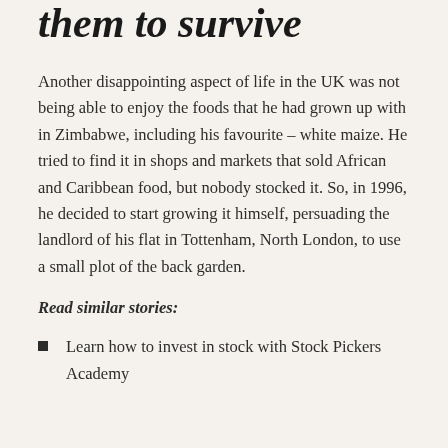them to survive
Another disappointing aspect of life in the UK was not being able to enjoy the foods that he had grown up with in Zimbabwe, including his favourite – white maize. He tried to find it in shops and markets that sold African and Caribbean food, but nobody stocked it. So, in 1996, he decided to start growing it himself, persuading the landlord of his flat in Tottenham, North London, to use a small plot of the back garden.
Read similar stories:
Learn how to invest in stock with Stock Pickers Academy